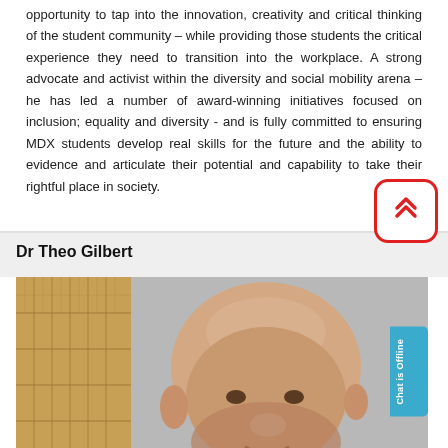opportunity to tap into the innovation, creativity and critical thinking of the student community – while providing those students the critical experience they need to transition into the workplace. A strong advocate and activist within the diversity and social mobility arena – he has led a number of award-winning initiatives focused on inclusion; equality and diversity - and is fully committed to ensuring MDX students develop real skills for the future and the ability to evidence and articulate their potential and capability to take their rightful place in society.
Dr Theo Gilbert
[Figure (photo): Portrait photo of Dr Theo Gilbert, a bald man, photographed in front of a textured mosaic/brick wall on the left side and a grey background on the right.]